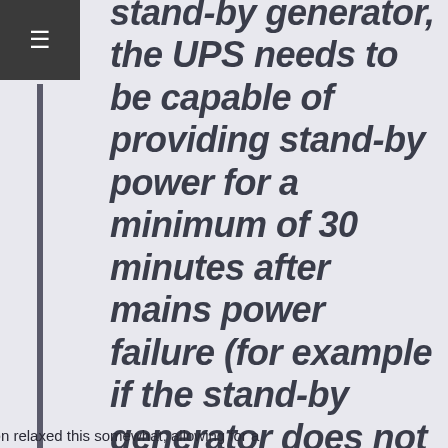stand-by generator, the UPS needs to be capable of providing stand-by power for a minimum of 30 minutes after mains power failure (for example if the stand-by generator does not start).
The 2015 revision relaxed this somewhat, allowing for a